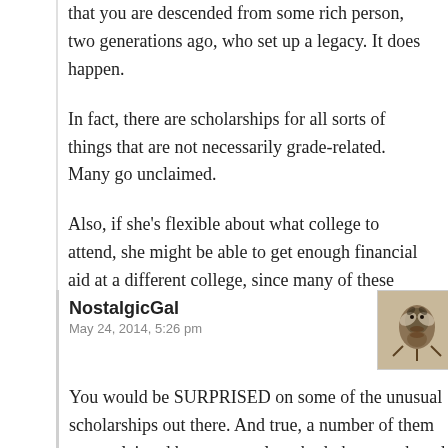that you are descended from some rich person, two generations ago, who set up a legacy. It does happen.
In fact, there are scholarships for all sorts of things that are not necessarily grade-related. Many go unclaimed.
Also, if she's flexible about what college to attend, she might be able to get enough financial aid at a different college, since many of these scholarships and grants are school-specific.
LINK
NostalgicGal
May 24, 2014, 5:26 pm
You would be SURPRISED on some of the unusual scholarships out there. And true, a number of them are unclaimed because partly nobody has ever heard about them, and they may have some very unusual qualifications if you do find out about them. Dig deep, cast far; a scholarship is something you do NOT have to pay back! Just